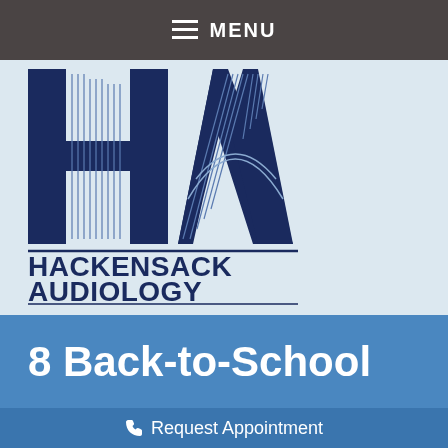MENU
[Figure (logo): Hackensack Audiology & Hearing Aid Associates logo with HA letters and bridge/lines design]
8 Back-to-School
Request Appointment